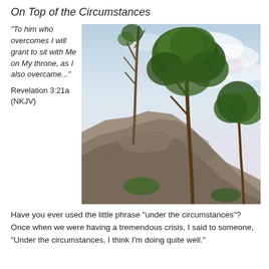On Top of the Circumstances
“To him who overcomes I will grant to sit with Me on My throne, as I also overcame...”
Revelation 3:21a (NKJV)
[Figure (photo): Photo of pine trees growing on a rocky cliff face against a cloudy sky]
Have you ever used the little phrase “under the circumstances”?  Once when we were having a tremendous crisis, I said to someone, “Under the circumstances, I think I’m doing quite well.”